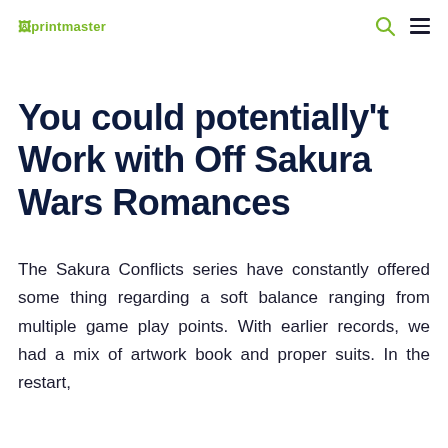printmaster
You could potentially't Work with Off Sakura Wars Romances
The Sakura Conflicts series have constantly offered some thing regarding a soft balance ranging from multiple game play points. With earlier records, we had a mix of artwork book and proper suits. In the restart,